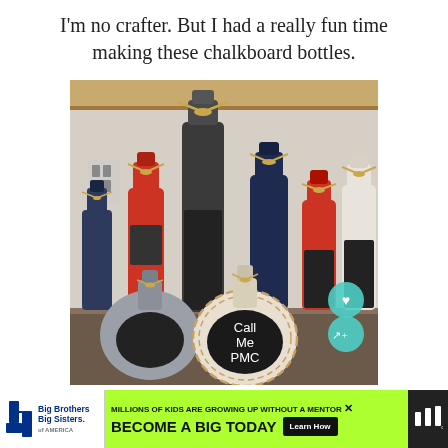I'm no crafter. But I had a really fun time making these chalkboard bottles.
[Figure (photo): A collection of wine and liquor bottles painted in various colors (navy blue, red, dark charcoal/black, white) with chalkboard oval sections and raffia/straw bows tied around the necks. One round bottle in the foreground has 'Call Me PMC' written in chalk. The bottles are arranged on a granite countertop in front of a wood-paneled backsplash.]
MILLIONS OF KIDS ARE GROWING UP WITHOUT A MENTOR. BECOME A BIG TODAY